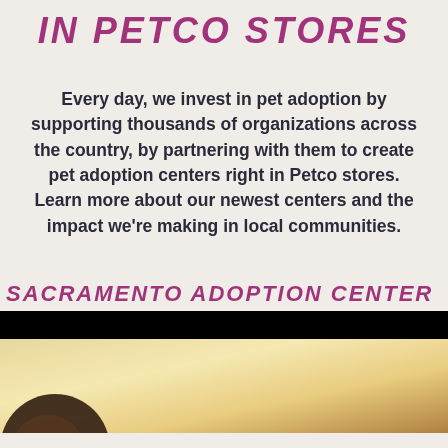IN PETCO STORES
Every day, we invest in pet adoption by supporting thousands of organizations across the country, by partnering with them to create pet adoption centers right in Petco stores. Learn more about our newest centers and the impact we're making in local communities.
SACRAMENTO ADOPTION CENTER
[Figure (photo): Photo of Sacramento adoption center, showing a partial view of a person's hand and face against a warm-toned background, with a black letterbox bar at top]